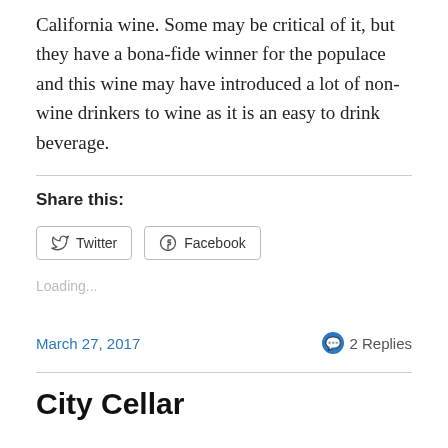California wine. Some may be critical of it, but they have a bona-fide winner for the populace and this wine may have introduced a lot of non-wine drinkers to wine as it is an easy to drink beverage.
Share this:
Loading...
March 27, 2017    2 Replies
City Cellar